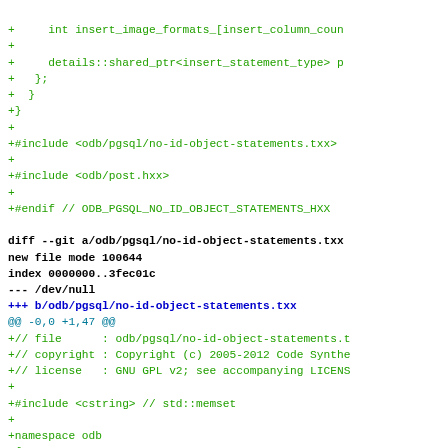Code diff showing git changes to odb/pgsql/no-id-object-statements files including file headers, includes, namespace declarations
+     int insert_image_formats_[insert_column_coun
+
+     details::shared_ptr<insert_statement_type> p
+   };
+  }
+}
+
+#include <odb/pgsql/no-id-object-statements.txx>
+
+#include <odb/post.hxx>
+
+#endif // ODB_PGSQL_NO_ID_OBJECT_STATEMENTS_HXX
diff --git a/odb/pgsql/no-id-object-statements.txx
new file mode 100644
index 0000000..3fec01c
--- /dev/null
+++ b/odb/pgsql/no-id-object-statements.txx
@@ -0,0 +1,47 @@
+// file      : odb/pgsql/no-id-object-statements.t
+// copyright : Copyright (c) 2005-2012 Code Synthe
+// license   : GNU GPL v2; see accompanying LICENS
+
+#include <cstring> // std::memset
+
+namespace odb
+{
+   namespace pgsql
+   {
+     //
+     //